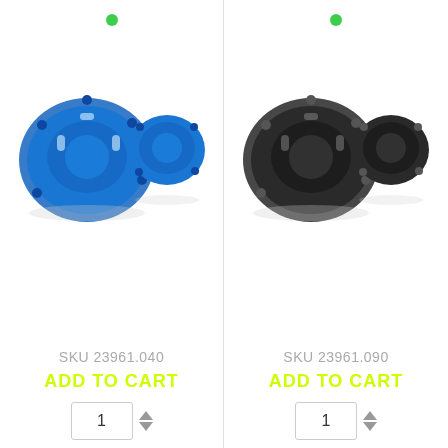[Figure (photo): Blue motorcycle engine cover protector kit - two pieces shown on white background]
SKU 23961.040
ADD TO CART
1
[Figure (photo): Black motorcycle engine cover protector kit - two pieces shown on white background]
SKU 23961.090
ADD TO CART
1